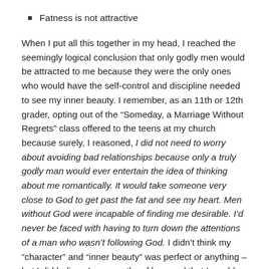Fatness is not attractive
When I put all this together in my head, I reached the seemingly logical conclusion that only godly men would be attracted to me because they were the only ones who would have the self-control and discipline needed to see my inner beauty. I remember, as an 11th or 12th grader, opting out of the “Someday, a Marriage Without Regrets” class offered to the teens at my church because surely, I reasoned, I did not need to worry about avoiding bad relationships because only a truly godly man would ever entertain the idea of thinking about me romantically. It would take someone very close to God to get past the fat and see my heart. Men without God were incapable of finding me desirable. I’d never be faced with having to turn down the attentions of a man who wasn’t following God. I didn’t think my “character” and “inner beauty” was perfect or anything – but I did believe I was worthy of love and that I would make a great Christian wife.